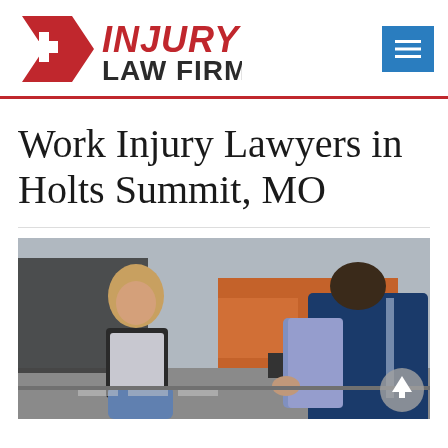Injury Law Firm [logo] with navigation menu button
Work Injury Lawyers in Holts Summit, MO
[Figure (photo): A woman sitting on the ground after what appears to be a workplace or vehicle accident, with a man beside her helping, and a truck visible in the background.]